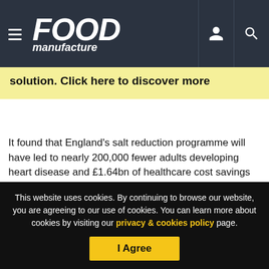Food Manufacture — navigation header with logo, hamburger menu, user icon, and search icon
solution. Click here to discover more
It found that England's salt reduction programme will have led to nearly 200,000 fewer adults developing heart disease and £1.64bn of healthcare cost savings by 2050.
However, these gains could be put at risk if the Government continued its recent weak support for the programme, it warned.
This website uses cookies. By continuing to browse our website, you are agreeing to our use of cookies. You can learn more about cookies by visiting our privacy & cookies policy page.
I Agree